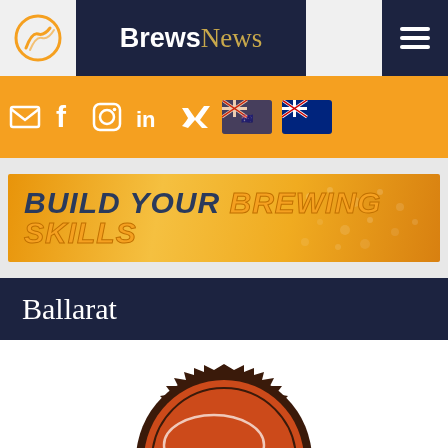BrewsNews
[Figure (logo): BrewsNews website header with logo icon, BrewsNews text, social media icons, and country flags on orange navigation bar]
[Figure (infographic): Advertisement banner: BUILD YOUR BREWING SKILLS on orange background]
Ballarat
[Figure (logo): Ballarat brewery logo - orange bottle cap gear shape with Ballarat script text in white]